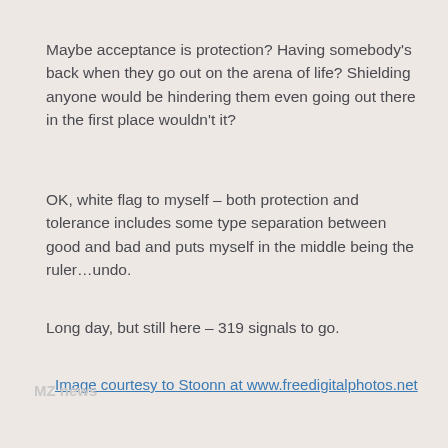Maybe acceptance is protection? Having somebody's back when they go out on the arena of life? Shielding anyone would be hindering them even going out there in the first place wouldn't it?
OK, white flag to myself – both protection and tolerance includes some type separation between good and bad and puts myself in the middle being the ruler…undo.
Long day, but still here – 319 signals to go.
Image courtesy to Stoonn at www.freedigitalphotos.net
MZ news